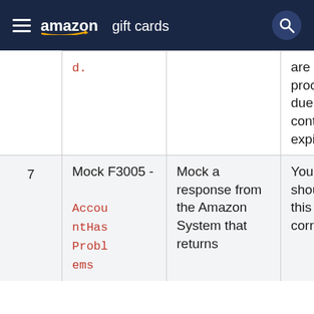amazon gift cards
| # | Error Code | Description | Action |
| --- | --- | --- | --- |
|  | d. | are unable to process orders due to the contract being expired. |  |
| 7 | Mock F3005 - AccountHasProblems | Mock a response from the Amazon System that returns | Your system should handle this response correctly, |